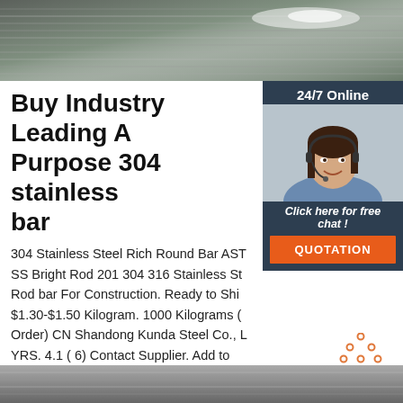[Figure (photo): Top portion of a photo showing bundled steel rods/bars with light reflecting off them]
Buy Industry Leading All Purpose 304 stainless steel bar
[Figure (photo): Chat widget overlay with 24/7 Online label, customer service woman wearing headset, Click here for free chat text, and QUOTATION button]
304 Stainless Steel Rich Round Bar ASTM SS Bright Rod 201 304 316 Stainless Steel Rod bar For Construction. Ready to Ship. $1.30-$1.50 Kilogram. 1000 Kilograms (Min. Order) CN Shandong Kunda Steel Co., Ltd. YRS. 4.1 ( 6) Contact Supplier. Add to Favorites.
[Figure (other): Get Price green button]
[Figure (other): TOP scroll-to-top button with orange dots forming a triangle above the word TOP]
[Figure (photo): Bottom portion of a product photo showing metallic steel bars/rods]